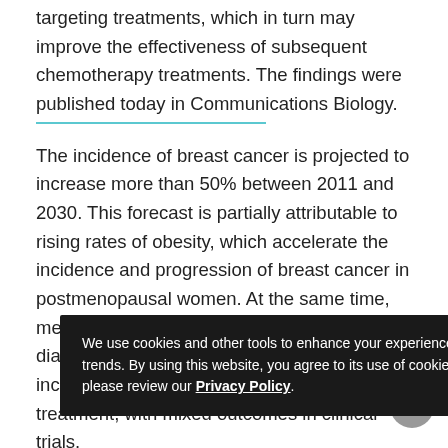targeting treatments, which in turn may improve the effectiveness of subsequent chemotherapy treatments. The findings were published today in Communications Biology.
The incidence of breast cancer is projected to increase more than 50% between 2011 and 2030. This forecast is partially attributable to rising rates of obesity, which accelerate the incidence and progression of breast cancer in postmenopausal women. At the same time, metabolism-targeting therapies such as the diabetes drug metformin have gained increasing popularity in breast cancer treatment, with mixed outcomes in clinical trials.
Using a new class of diabetes drug, SGLT2 inhibitors, Yale researchers studied the SGLT2
We use cookies and other tools to enhance your experience and analyze web trends. By using this website, you agree to its use of cookies. To learn more, please review our Privacy Policy.